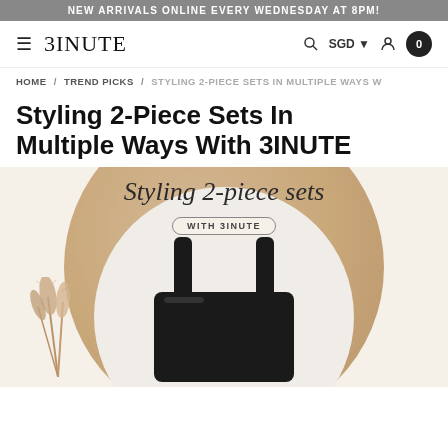NEW ARRIVALS ONLINE EVERY WEDNESDAY AT 8PM!
≡  3INUTE   🔍  SGD ▾  👤  0
HOME / TREND PICKS / STYLING 2-PIECE SETS IN MULTIPLE WAYS W
Styling 2-Piece Sets In Multiple Ways With 3INUTE
[Figure (photo): Hero banner image showing styling 2-piece sets with 3INUTE branding. Script text reads 'Styling 2-piece sets' with 'WITH 3INUTE' badge below. Background shows a cream/beige scene with a circular wooden tray, white fluffy surface, a black 2-piece garment set laid flat, and dried pampas grass in the foreground.]